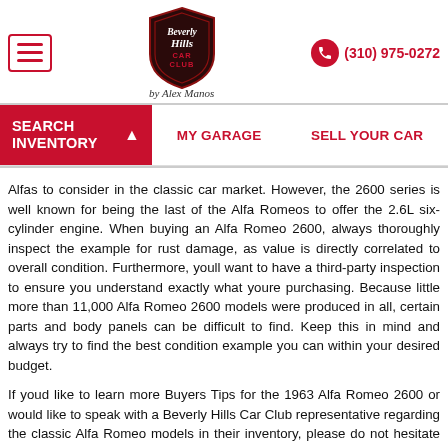Beverly Hills Car Club — (310) 975-0272
[Figure (logo): Beverly Hills Car Club shield logo with 'by Alex Manos' script below]
SEARCH INVENTORY   MY GARAGE   SELL YOUR CAR
Alfas to consider in the classic car market. However, the 2600 series is well known for being the last of the Alfa Romeos to offer the 2.6L six-cylinder engine. When buying an Alfa Romeo 2600, always thoroughly inspect the example for rust damage, as value is directly correlated to overall condition. Furthermore, youll want to have a third-party inspection to ensure you understand exactly what youre purchasing. Because little more than 11,000 Alfa Romeo 2600 models were produced in all, certain parts and body panels can be difficult to find. Keep this in mind and always try to find the best condition example you can within your desired budget.
If youd like to learn more Buyers Tips for the 1963 Alfa Romeo 2600 or would like to speak with a Beverly Hills Car Club representative regarding the classic Alfa Romeo models in their inventory, please do not hesitate to contact their team today. They are always available for